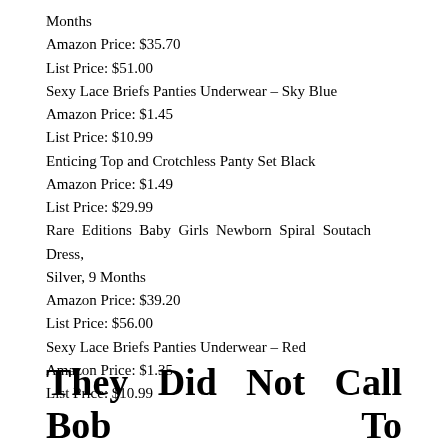Months
Amazon Price: $35.70
List Price: $51.00
Sexy Lace Briefs Panties Underwear – Sky Blue
Amazon Price: $1.45
List Price: $10.99
Enticing Top and Crotchless Panty Set Black
Amazon Price: $1.49
List Price: $29.99
Rare Editions Baby Girls Newborn Spiral Soutach Dress, Silver, 9 Months
Amazon Price: $39.20
List Price: $56.00
Sexy Lace Briefs Panties Underwear – Red
Amazon Price: $1.35
List Price: $10.99
They Did Not Call Bob To